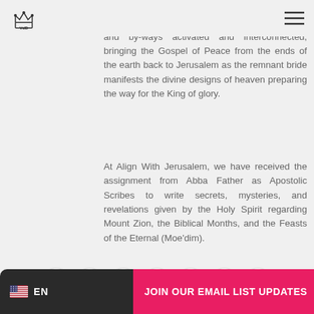VdD logo and hamburger menu
and in the spirit of Psalm 132:13. The entire logo is a blueprint of the natural and spiritual highways and by-ways activated and interconnected, bringing the Gospel of Peace from the ends of the earth back to Jerusalem as the remnant bride manifests the divine designs of heaven preparing the way for the King of glory.
At Align With Jerusalem, we have received the assignment from Abba Father as Apostolic Scribes to write secrets, mysteries, and revelations given by the Holy Spirit regarding Mount Zion, the Biblical Months, and the Feasts of the Eternal (Moe'dim).
[Figure (infographic): Row of 7 social media sharing buttons (Telegram, Line, Facebook, LinkedIn, Pinterest, VK, Share) as circular white buttons with colored icons]
JOIN OUR EMAIL LIST UPDATES | EN (US flag language selector)